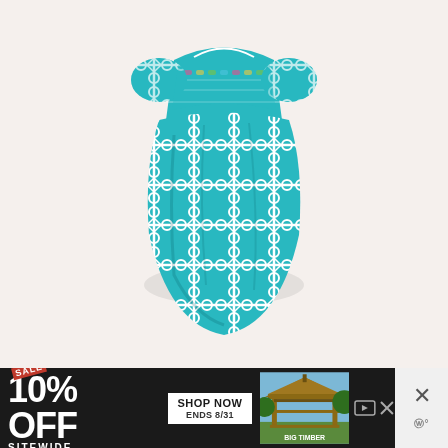[Figure (photo): A baby's smocked bubble romper in teal/turquoise with a white Moroccan tile (quatrefoil) lattice print. The garment has short puff sleeves and smocking at the chest with colorful embroidery. The romper has a puffy bloomer-style bottom.]
SMOCKED MERMAID BUBBLE
[Figure (other): Advertisement banner: black background with 'SALE' tag, '10% OFF' in large white bold text, 'SITEWIDE' below. A white button reads 'SHOP NOW / ENDS 8/31'. A photo of a wooden gazebo structure (Big Timber) on the right side. Ad controls (close X and mute button) on far right.]